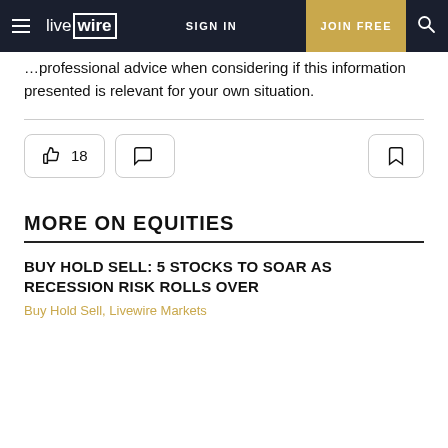live wire | SIGN IN | JOIN FREE
Please undertake your own research and seek professional advice when considering if this information presented is relevant for your own situation.
MORE ON EQUITIES
BUY HOLD SELL: 5 STOCKS TO SOAR AS RECESSION RISK ROLLS OVER
Buy Hold Sell, Livewire Markets